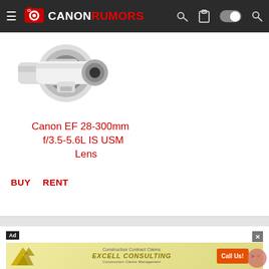Canon Rumors navigation bar with logo, hamburger menu, key icon, clipboard icon, toggle switch, and search icon
[Figure (photo): Canon EF 28-300mm f/3.5-5.6L IS USM Lens product photo showing a white telephoto zoom lens]
Canon EF 28-300mm f/3.5-5.6L IS USM Lens
BUY   RENT
[Figure (other): Excell Consulting advertisement banner with yellow logo, Construction Contract Claims headline, and orange Call Us! button]